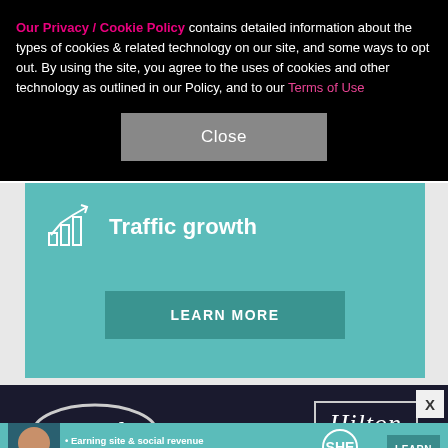Our Privacy / Cookie Policy contains detailed information about the types of cookies & related technology on our site, and some ways to opt out. By using the site, you agree to the uses of cookies and other technology as outlined in our Policy, and to our Terms of Use
Close
[Figure (infographic): Teal advertisement block with bar chart growth icon and 'Traffic growth' heading, with a 'LEARN MORE' button]
[Figure (infographic): Dark banner showing Ford oval logo on left and Hilton hotel logo on right, with partial view of a person's head at bottom center]
[Figure (infographic): SHE Partner Network bottom banner ad with bullets: Earning site & social revenue, Traffic growth, Speaking on our stages; SHE logo and LEARN MORE button]